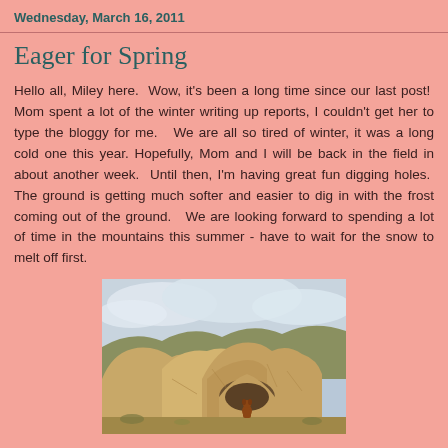Wednesday, March 16, 2011
Eager for Spring
Hello all, Miley here.  Wow, it's been a long time since our last post!  Mom spent a lot of the winter writing up reports, I couldn't get her to type the bloggy for me.   We are all so tired of winter, it was a long cold one this year.  Hopefully, Mom and I will be back in the field in about another week.  Until then, I'm having great fun digging holes.  The ground is getting much softer and easier to dig in with the frost coming out of the ground.   We are looking forward to spending a lot of time in the mountains this summer - have to wait for the snow to melt off first.
[Figure (photo): A dog sitting among large rock formations under a cloudy sky in an arid landscape]